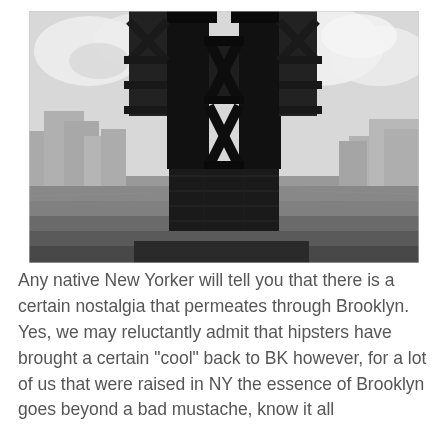[Figure (photo): Black and white photograph taken from ground level looking up at the base of a bridge tower (likely the Manhattan Bridge), with the steel truss structure silhouetted against a cloudy sky. The East River and New York City skyline with buildings are visible in the background on both sides.]
Any native New Yorker will tell you that there is a certain nostalgia that permeates through Brooklyn. Yes, we may reluctantly admit that hipsters have brought a certain "cool" back to BK however, for a lot of us that were raised in NY the essence of Brooklyn goes beyond a bad mustache, know it all